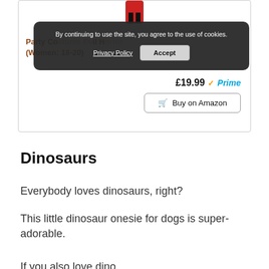[Figure (screenshot): Cookie consent banner overlay on a product page showing privacy policy link and Accept button]
By continuing to use the site, you agree to the use of cookies.
Privacy Policy   Accept
Party Co... E... lorror (Women: 18-20)
£19.99 ✓Prime
🛒 Buy on Amazon
Dinosaurs
Everybody loves dinosaurs, right?
This little dinosaur onesie for dogs is super-adorable.
If you also love dinosaurs, you can also get a matching costume...